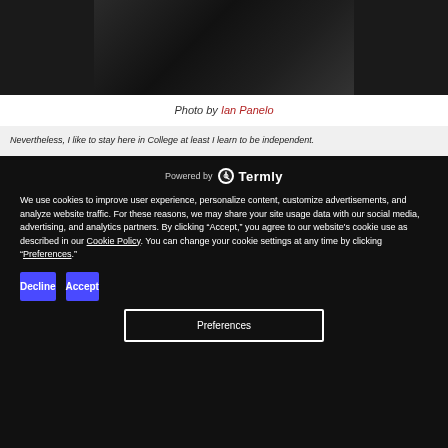[Figure (photo): Dark toned photograph strip at top of page]
Photo by Ian Panelo
Nevertheless, I like to stay here in College at least I learn to be independent.
Powered by Termly
We use cookies to improve user experience, personalize content, customize advertisements, and analyze website traffic. For these reasons, we may share your site usage data with our social media, advertising, and analytics partners. By clicking “Accept,” you agree to our website's cookie use as described in our Cookie Policy. You can change your cookie settings at any time by clicking “Preferences.”
Decline
Accept
Preferences